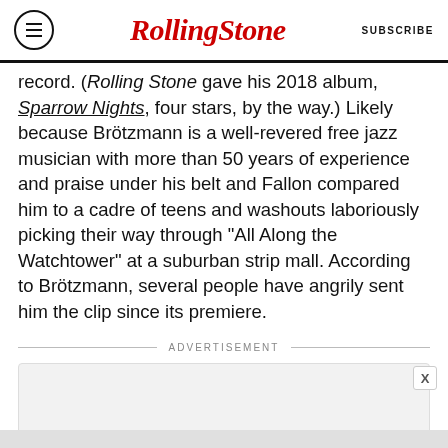Rolling Stone | SUBSCRIBE
record. (Rolling Stone gave his 2018 album, Sparrow Nights, four stars, by the way.) Likely because Brötzmann is a well-revered free jazz musician with more than 50 years of experience and praise under his belt and Fallon compared him to a cadre of teens and washouts laboriously picking their way through “All Along the Watchtower” at a suburban strip mall. According to Brötzmann, several people have angrily sent him the clip since its premiere.
ADVERTISEMENT